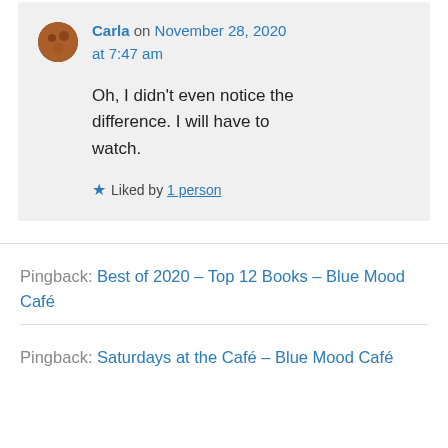Carla on November 28, 2020 at 7:47 am
Oh, I didn't even notice the difference. I will have to watch.
★ Liked by 1 person
Pingback: Best of 2020 – Top 12 Books – Blue Mood Café
Pingback: Saturdays at the Café – Blue Mood Café